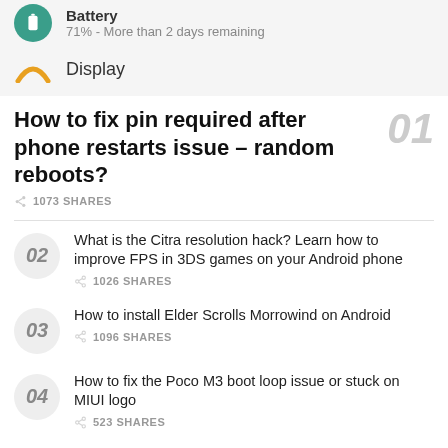[Figure (other): Battery icon - teal circle with battery symbol]
Battery
71% - More than 2 days remaining
[Figure (other): Display icon - orange/yellow arch/rainbow symbol]
Display
How to fix pin required after phone restarts issue – random reboots?
1073 SHARES
02 What is the Citra resolution hack? Learn how to improve FPS in 3DS games on your Android phone
1026 SHARES
03 How to install Elder Scrolls Morrowind on Android
1096 SHARES
04 How to fix the Poco M3 boot loop issue or stuck on MIUI logo
523 SHARES